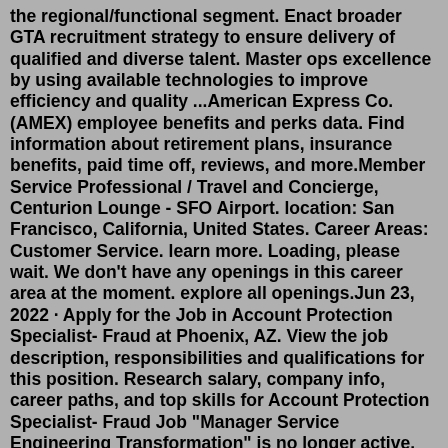the regional/functional segment. Enact broader GTA recruitment strategy to ensure delivery of qualified and diverse talent. Master ops excellence by using available technologies to improve efficiency and quality ...American Express Co. (AMEX) employee benefits and perks data. Find information about retirement plans, insurance benefits, paid time off, reviews, and more.Member Service Professional / Travel and Concierge, Centurion Lounge - SFO Airport. location: San Francisco, California, United States. Career Areas: Customer Service. learn more. Loading, please wait. We don't have any openings in this career area at the moment. explore all openings.Jun 23, 2022 · Apply for the Job in Account Protection Specialist- Fraud at Phoenix, AZ. View the job description, responsibilities and qualifications for this position. Research salary, company info, career paths, and top skills for Account Protection Specialist- Fraud Job "Manager Service Engineering Transformation" is no longer active. MANAGER SERVICE ENGINEERING TRANSFORMATION